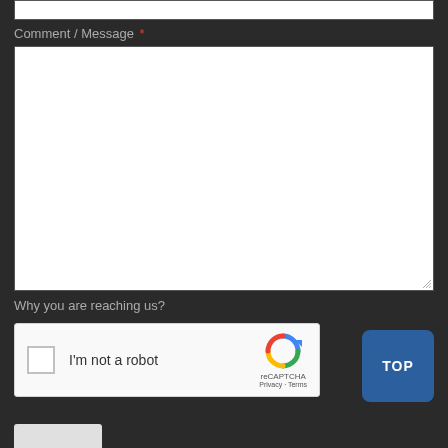[Figure (screenshot): Top input field (partial, white rectangle)]
Comment / Message *
[Figure (screenshot): Large white textarea for comment/message input with resize handle in bottom-right corner]
Why you are reaching us?
[Figure (screenshot): reCAPTCHA widget with checkbox, 'I'm not a robot' label, reCAPTCHA logo, Privacy and Terms links]
[Figure (screenshot): Blue 'TOP' button in bottom-right area]
[Figure (screenshot): Partial bottom button/element at the bottom-left]